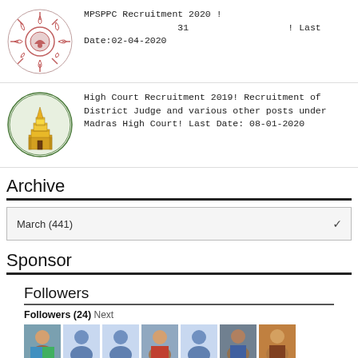[Figure (logo): MPSPPC sun logo with circular emblem]
MPSPPC Recruitment 2020 !                    31                    ! Last Date:02-04-2020
[Figure (logo): Madras High Court logo with temple gopuram]
High Court Recruitment 2019! Recruitment of District Judge and various other posts under Madras High Court! Last Date: 08-01-2020
Archive
March (441)
Sponsor
Followers
Followers (24) Next
[Figure (photo): Row of 7 follower profile photos/avatars]